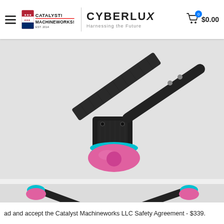Catalyst Machineworks | CyberLux - Harnessing the Future | Cart $0.00
[Figure (photo): Close-up product photo of a drone arm component showing a carbon fiber arm with a pink and teal brushless motor mount attached at the end]
[Figure (photo): Wider product photo showing multiple drone arms with pink and teal motors, carbon fiber construction, spread out in a display arrangement]
ad and accept the Catalyst Machineworks LLC Safety Agreement - $339.